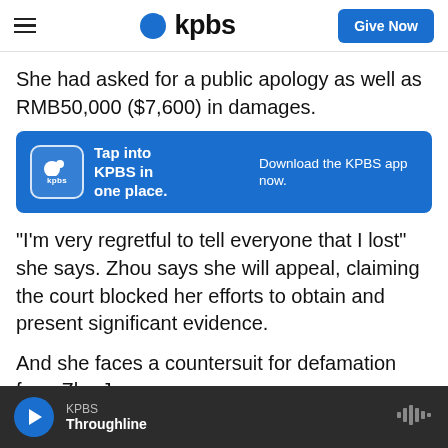KPBS — Give Now
She had asked for a public apology as well as RMB50,000 ($7,600) in damages.
[Figure (infographic): KPBS blue advertisement banner: 'Tap into KPBS in one place. Download the KPBS app now.']
"I'm very regretful to tell everyone that I lost" she says. Zhou says she will appeal, claiming the court blocked her efforts to obtain and present significant evidence.
And she faces a countersuit for defamation from Zhu Jun.
KPBS Throughline